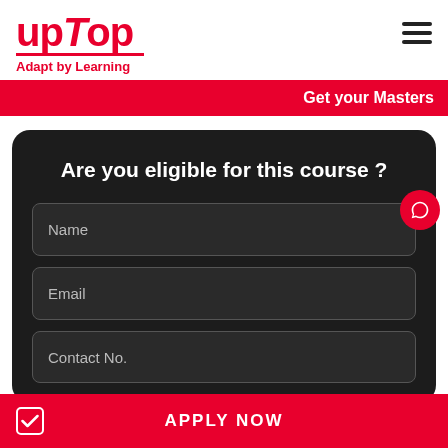[Figure (logo): upTop logo with tagline 'Adapt by Learning' in red]
Get your Masters
Are you eligible for this course ?
Name
Email
Contact No.
APPLY NOW